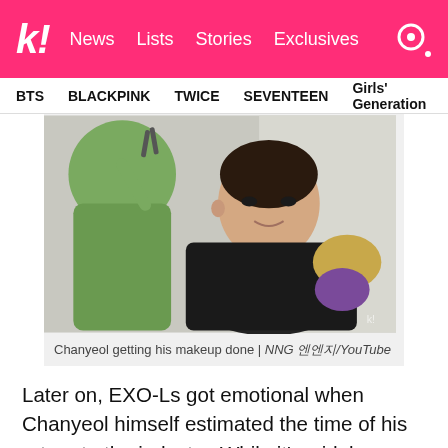k! News  Lists  Stories  Exclusives
BTS  BLACKPINK  TWICE  SEVENTEEN  Girls' Generation
[Figure (photo): Chanyeol sitting in a salon chair getting his makeup done by a person in a green hoodie, with a black cape draped over him. A gold/purple chair back is visible behind him.]
Chanyeol getting his makeup done | NNG 엔엔지/YouTube
Later on, EXO-Ls got emotional when Chanyeol himself estimated the time of his return to the industry. While it's widely known among fans